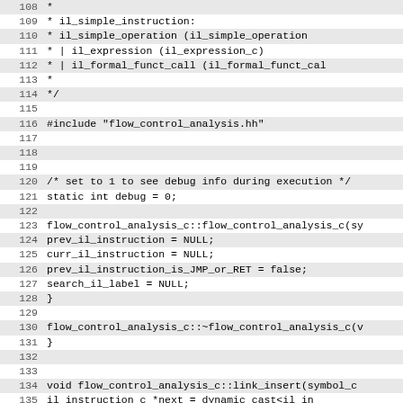Code listing lines 108-139, C++ source code with flow_control_analysis_c class implementation
108:  *
109:  * il_simple_instruction:
110:  *    il_simple_operation          (il_simple_operation...
111:  * | il_expression                  (il_expression_c)
112:  * | il_formal_funct_call           (il_formal_funct_cal...
113:  *
114:  */
115:
116: #include "flow_control_analysis.hh"
117:
118:
119:
120: /* set to 1 to see debug info during execution */
121: static int debug = 0;
122:
123: flow_control_analysis_c::flow_control_analysis_c(sy...
124:     prev_il_instruction = NULL;
125:     curr_il_instruction = NULL;
126:     prev_il_instruction_is_JMP_or_RET = false;
127:     search_il_label = NULL;
128: }
129:
130: flow_control_analysis_c::~flow_control_analysis_c(v...
131: }
132:
133:
134: void flow_control_analysis_c::link_insert(symbol_c...
135:         il_instruction_c *next = dynamic_cast<il_in...
136:         il_instruction_c *prev = dynamic_cast<il_in...
137:         if ((NULL == next) || (NULL == prev)) ERROR...
138:
139:         next->prev_il_instruction.insert(next->prev...